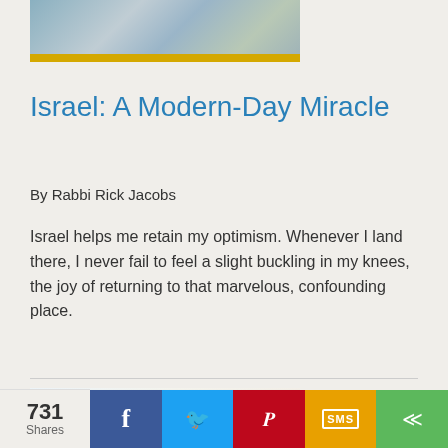[Figure (photo): Partial top of photo showing people, with yellow bar at bottom]
Israel: A Modern-Day Miracle
By Rabbi Rick Jacobs
Israel helps me retain my optimism. Whenever I land there, I never fail to feel a slight buckling in my knees, the joy of returning to that marvelous, confounding place.
[Figure (photo): Beach scene with ocean wave and the word TIME written in the sand]
731 Shares